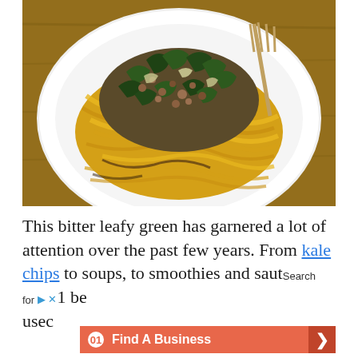[Figure (photo): A white plate with yellow/golden noodles or pasta topped with sautéed ground meat, dark leafy greens (kale), and onions, with a fork resting on the plate. The plate sits on a wooden surface.]
This bitter leafy green has garnered a lot of attention over the past few years. From kale chips to soups, to smoothies and saut[...] be usec[...] Find A Business
[Figure (screenshot): Ad overlay showing 'Search for' text with a play icon and close button, and an orange bar with '01 Find A Business' and a right arrow.]